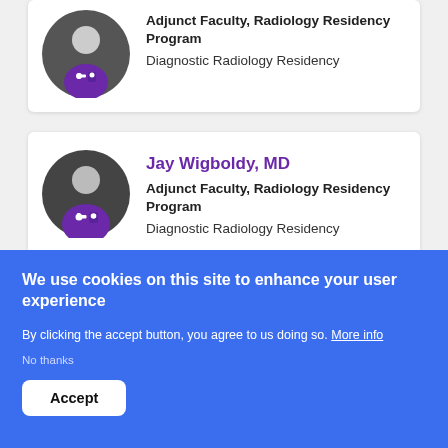[Figure (illustration): Partial profile card showing a generic doctor avatar (dark circle with purple medical coat icon) and role/department text]
Adjunct Faculty, Radiology Residency Program
Diagnostic Radiology Residency
[Figure (illustration): Profile card for Jay Wigboldy MD showing a generic doctor avatar (dark circle with purple medical coat icon)]
Jay Wigboldy, MD
Adjunct Faculty, Radiology Residency Program
Diagnostic Radiology Residency
We use cookies on this site to enhance your user experience
By clicking the accept button, you agree to us doing so. More info
No thanks
Accept